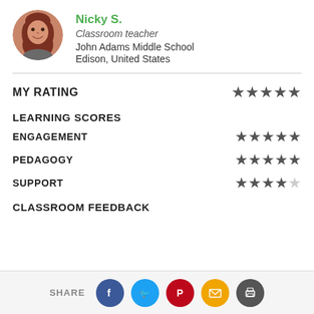[Figure (photo): Circular profile photo of a young woman with reddish-brown hair, smiling]
Nicky S.
Classroom teacher
John Adams Middle School
Edison, United States
MY RATING
LEARNING SCORES
ENGAGEMENT ★★★★★
PEDAGOGY ★★★★★
SUPPORT ★★★★☆
CLASSROOM FEEDBACK
SHARE